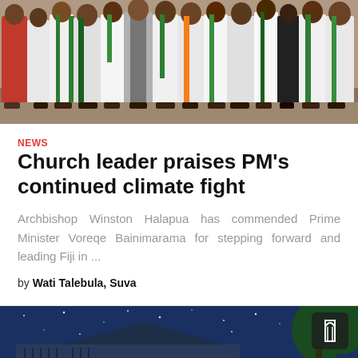[Figure (photo): Group of church leaders and clergy in white robes and colorful vestments standing together outdoors]
NEWS
Church leader praises PM's continued climate fight
Archbishop Winston Halapua has commended Prime Minister Voreqe Bainimarama for stepping forward and leading Fiji in ...
by Wati Talebula, Suva
[Figure (photo): Night sky with stars over a building with a pointed roof or steeple, blue toned image]